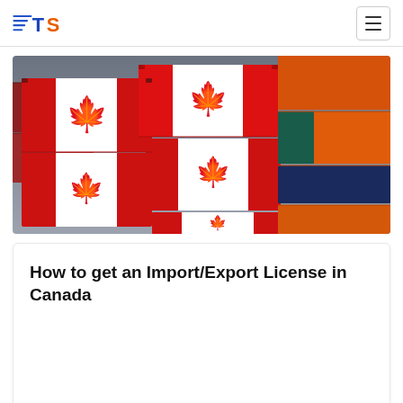TS logo and navigation
[Figure (photo): Stacked shipping containers with Canadian flag (red maple leaf on white and red background) printed on them, with orange, blue, and dark colored containers visible, under a cloudy grey sky.]
How to get an Import/Export License in Canada